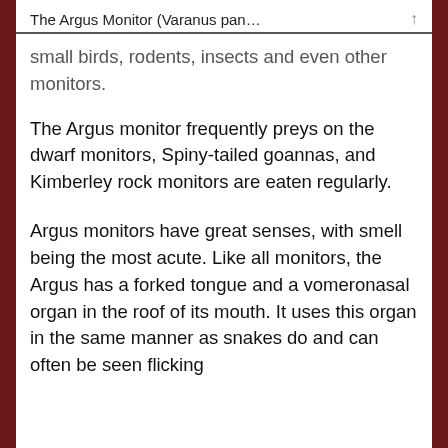The Argus Monitor (Varanus pan… ↑
small birds, rodents, insects and even other monitors.
The Argus monitor frequently preys on the dwarf monitors, Spiny-tailed goannas, and Kimberley rock monitors are eaten regularly.
Argus monitors have great senses, with smell being the most acute. Like all monitors, the Argus has a forked tongue and a vomeronasal organ in the roof of its mouth. It uses this organ in the same manner as snakes do and can often be seen flicking